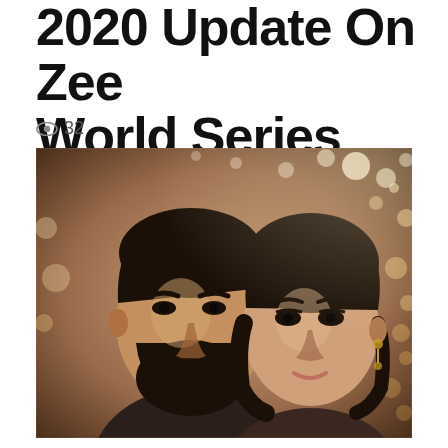2020 Update On Zee World Series
👁 32
[Figure (photo): A young man with a beard and styled hair stands in front of a young woman with dark hair and earrings. They are posed together against a bokeh background of warm lights, in a promotional or dramatic TV show style photograph.]